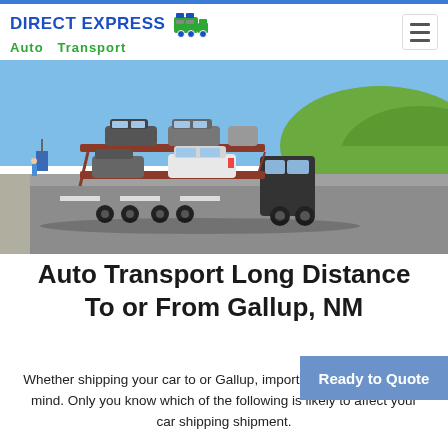DIRECT EXPRESS Auto Transport
[Figure (photo): A car carrier truck loaded with multiple vehicles driving on a highway, photographed from behind. The truck carries cars on two levels. Green hills and clear sky in the background.]
Auto Transport Long Distance To or From Gallup, NM
Ready to Quote
Whether shipping your car to or Gallup, important factors to keep in mind. Only you know which of the following is likely to affect your car shipping shipment.